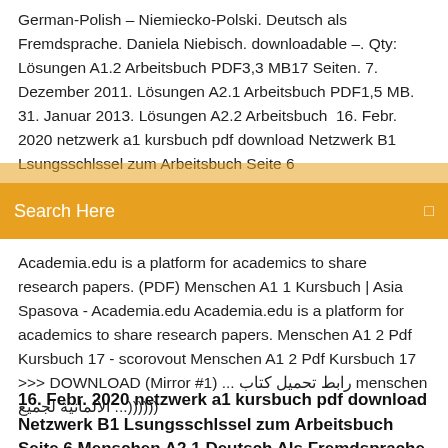German-Polish – Niemiecko-Polski. Deutsch als Fremdsprache. Daniela Niebisch. downloadable –. Qty: Lösungen A1.2 Arbeitsbuch PDF3,3 MB17 Seiten. 7. Dezember 2011. Lösungen A2.1 Arbeitsbuch PDF1,5 MB. 31. Januar 2013. Lösungen A2.2 Arbeitsbuch  16. Febr. 2020 netzwerk a1 kursbuch pdf download Netzwerk B1 Lsungsschlssel zum Arbeitsbuch Seite 6
Search Here
Academia.edu is a platform for academics to share research papers. (PDF) Menschen A1 1 Kursbuch | Asia Spasova - Academia.edu Academia.edu is a platform for academics to share research papers. Menschen A1 2 Pdf Kursbuch 17 - scorovout Menschen A1 2 Pdf Kursbuch 17 >>> DOWNLOAD (Mirror #1) ... رابط تحميل كتاب menschen الألمانية لجميع ...))))))
16. Febr. 2020 netzwerk a1 kursbuch pdf download Netzwerk B1 Lsungsschlssel zum Arbeitsbuch Seite 6 Menschen A2 1 Deutsch Als Fremdsprache